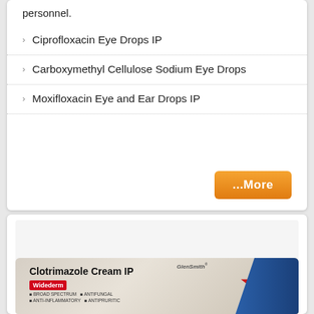personnel.
Ciprofloxacin Eye Drops IP
Carboxymethyl Cellulose Sodium Eye Drops
Moxifloxacin Eye and Ear Drops IP
[Figure (photo): Clotrimazole Cream IP product (Widederm brand by GlenSmith) — tube packaging with red star logo and blue accent, showing broad spectrum, anti-inflammatory, antifungal text]